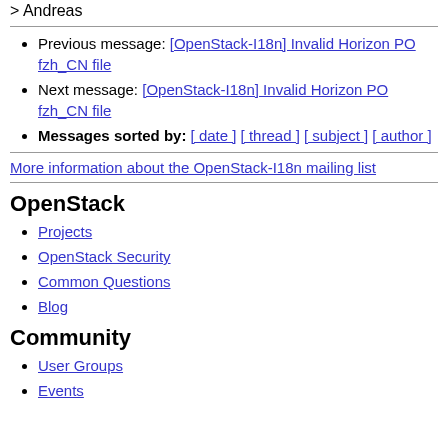> Andreas
Previous message: [OpenStack-I18n] Invalid Horizon PO fzh_CN file
Next message: [OpenStack-I18n] Invalid Horizon PO fzh_CN file
Messages sorted by: [ date ] [ thread ] [ subject ] [ author ]
More information about the OpenStack-I18n mailing list
OpenStack
Projects
OpenStack Security
Common Questions
Blog
Community
User Groups
Events